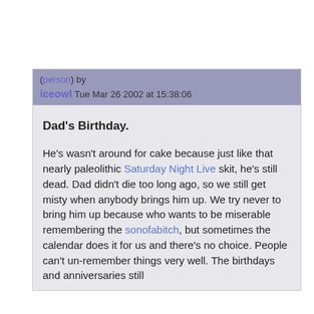(person) by iceowl  Tue Mar 26 2002 at 15:38:06
Dad's Birthday.
He's wasn't around for cake because just like that nearly paleolithic Saturday Night Live skit, he's still dead. Dad didn't die too long ago, so we still get misty when anybody brings him up. We try never to bring him up because who wants to be miserable remembering the sonofabitch, but sometimes the calendar does it for us and there's no choice. People can't un-remember things very well. The birthdays and anniversaries still